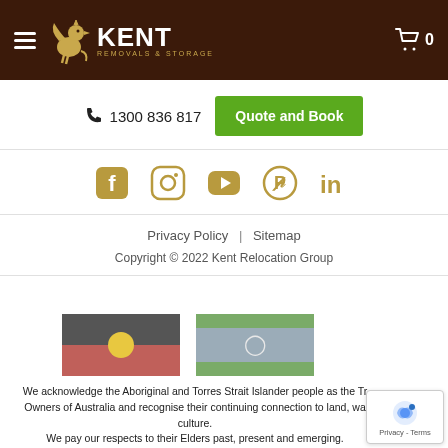Kent Removals & Storage — site header with hamburger menu, logo, and cart icon
1300 836 817
Quote and Book
[Figure (other): Social media icons row: Facebook, Instagram, YouTube, Pinterest, LinkedIn in gold/tan color]
Privacy Policy | Sitemap
Copyright © 2022 Kent Relocation Group
[Figure (illustration): Australian Aboriginal flag (black top half, red bottom half, yellow circle in center)]
[Figure (illustration): Torres Strait Islander flag (green, blue, white stripes with white star/symbol)]
We acknowledge the Aboriginal and Torres Strait Islander people as the Traditional Owners of Australia and recognise their continuing connection to land, water and culture.
We pay our respects to their Elders past, present and emerging.